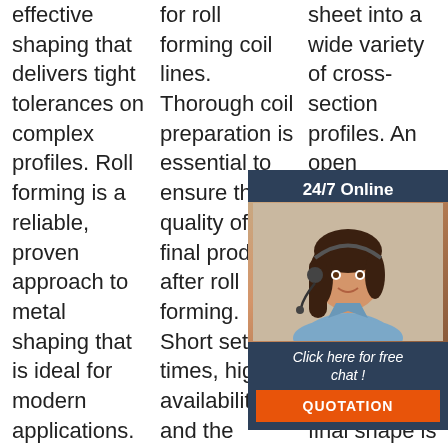effective shaping that delivers tight tolerances on complex profiles. Roll forming is a reliable, proven approach to metal shaping that is ideal for modern applications. This process uses a continuous bending
for roll forming coil lines. Thorough coil preparation is essential to ensure the quality of the final product after roll forming. Short set-up times, high availability and the optimum interaction of all the components:
sheet into a wide variety of cross-section profiles. An open operation, most commonly, but also tube and pipe, can be produced as well. Because the final shape is achieved through a series of bends, the part does not
[Figure (photo): Chat widget overlay with a woman wearing a headset (customer service representative), dark navy background, orange 'QUOTATION' button, '24/7 Online' header text, and 'Click here for free chat!' text]